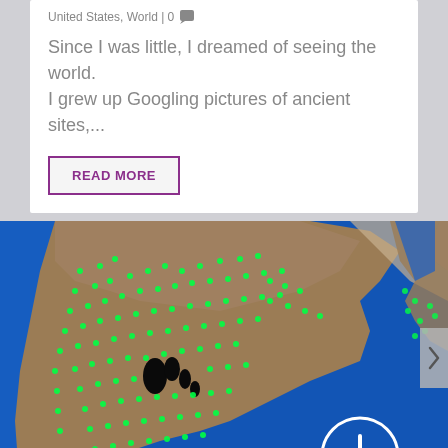United States, World | 0 💬
Since I was little, I dreamed of seeing the world. I grew up Googling pictures of ancient sites,...
READ MORE
[Figure (map): Satellite globe view showing North America and Europe with bright green dots overlaid across land areas, particularly dense across the eastern United States. A white circle with a plus sign appears in the lower right. The background shows blue ocean.]